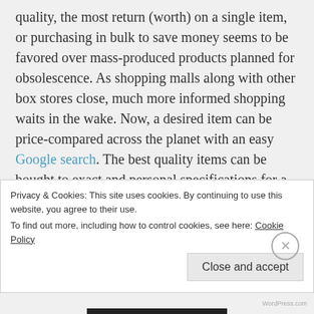quality, the most return (worth) on a single item, or purchasing in bulk to save money seems to be favored over mass-produced products planned for obsolescence. As shopping malls along with other box stores close, much more informed shopping waits in the wake. Now, a desired item can be price-compared across the planet with an easy Google search. The best quality items can be bought to exact and personal specifications for a small price; even a car, land and home can be purchased this
Privacy & Cookies: This site uses cookies. By continuing to use this website, you agree to their use.
To find out more, including how to control cookies, see here: Cookie Policy